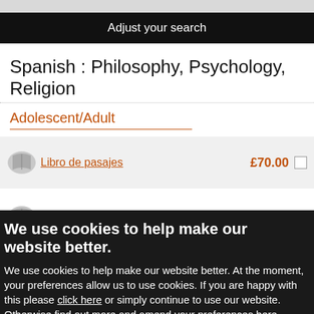[Figure (screenshot): Gray bar at top of page]
Adjust your search
Spanish : Philosophy, Psychology, Religion
Adolescent/Adult
Libro de pasajes £70.00
Los cuatro acuerdos   Ruiz, M   £12.75
We use cookies to help make our website better.
We use cookies to help make our website better. At the moment, your preferences allow us to use cookies. If you are happy with this please click here or simply continue to use our website. Otherwise find out more and amend your preferences here.